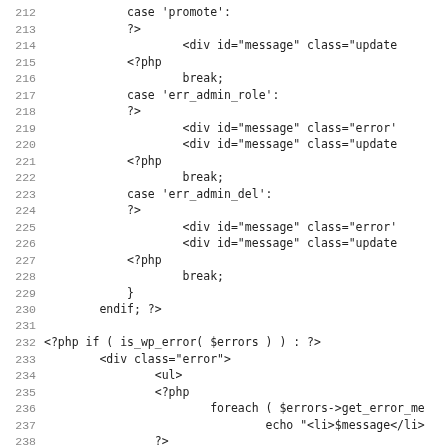[Figure (screenshot): Source code listing showing PHP and HTML code, lines 212 through 243, with line numbers on the left and code content on the right in monospace font.]